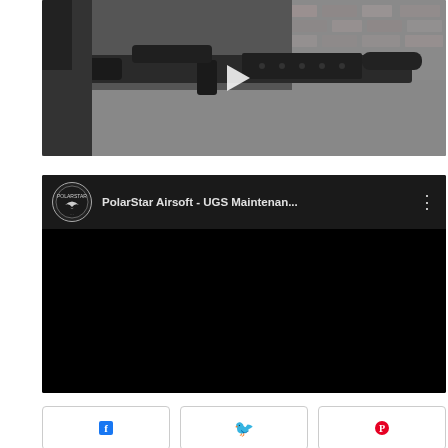[Figure (screenshot): Video thumbnail showing a person holding an airsoft rifle on a gray table with brick wall background, with a play button overlay]
[Figure (screenshot): Embedded YouTube video player showing 'PolarStar Airsoft - UGS Maintenan...' with PolarStar logo circle, video title, three-dot menu, and black video body]
[Figure (screenshot): Row of three social share buttons (Facebook, Twitter/other, Pinterest) partially visible at the bottom]